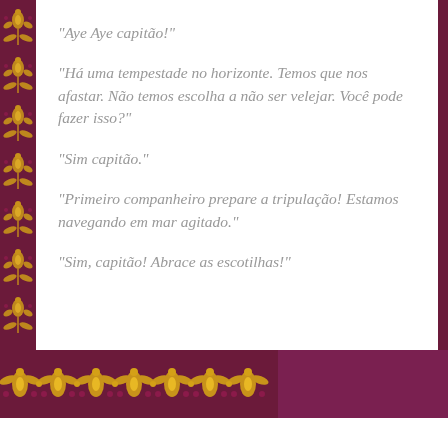“Aye Aye capitão!”
“Há uma tempestade no horizonte. Temos que nos afastar. Não temos escolha a não ser velejar. Você pode fazer isso?”
“Sim capitão.”
“Primeiro companheiro prepare a tripulação! Estamos navegando em mar agitado.”
“Sim, capitão! Abrace as escotilhas!”
[Figure (illustration): Decorative floral pattern border on left side and bottom band, dark plum/maroon background with gold floral motifs]